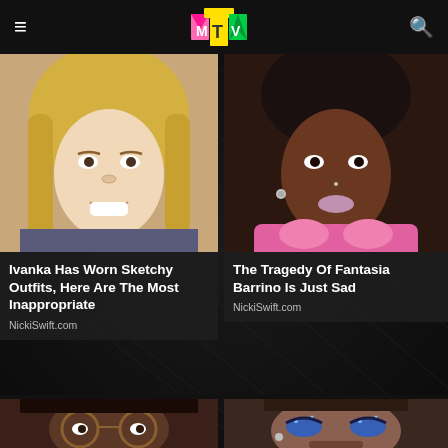MTV
[Figure (photo): Photo of blonde woman smiling (Ivanka Trump)]
Ivanka Has Worn Sketchy Outfits, Here Are The Most Inappropriate
NickiSwift.com
[Figure (photo): Photo of Fantasia Barrino wearing pink accessories]
The Tragedy Of Fantasia Barrino Is Just Sad
NickiSwift.com
[Figure (photo): Photo of young woman wearing round glasses]
[Figure (photo): Photo of man wearing blue glitter eye makeup]